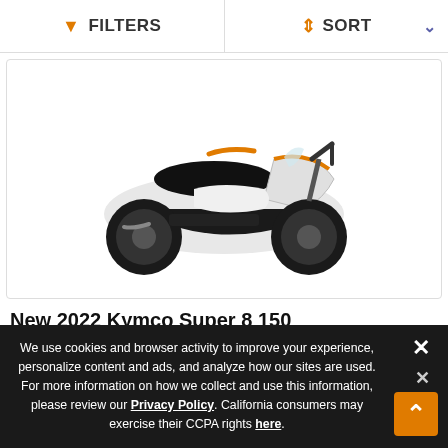FILTERS   SORT
[Figure (photo): Photo of a 2022 Kymco Super 8 150 scooter in gray/white/orange color scheme, side profile view facing left]
New 2022 Kymco Super 8 150
$2,449
Color   GRAY
We use cookies and browser activity to improve your experience, personalize content and ads, and analyze how our sites are used. For more information on how we collect and use this information, please review our Privacy Policy. California consumers may exercise their CCPA rights here.